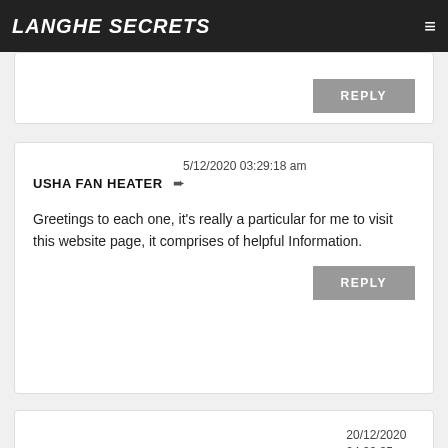LANGHE SECRETS
REPLY
USHA FAN HEATER → 5/12/2020 03:29:18 am
Greetings to each one, it's really a particular for me to visit this website page, it comprises of helpful Information.
REPLY
VASHIKARAN SPECIALIST ASTROLOGER → 20/12/2020 04:39:35 am
<a href="http://www.vashikaranexpert.online"> real